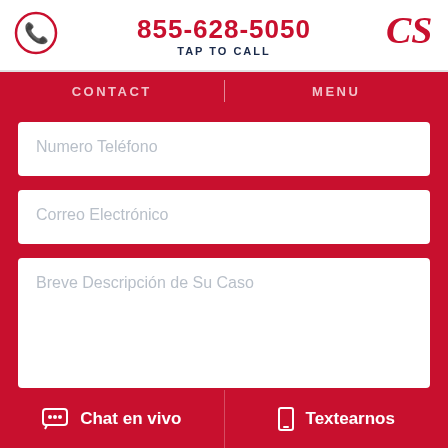855-628-5050 TAP TO CALL
CONTACT | MENU
Numero Teléfono
Correo Electrónico
Breve Descripción de Su Caso
Chat en vivo
Textearnos